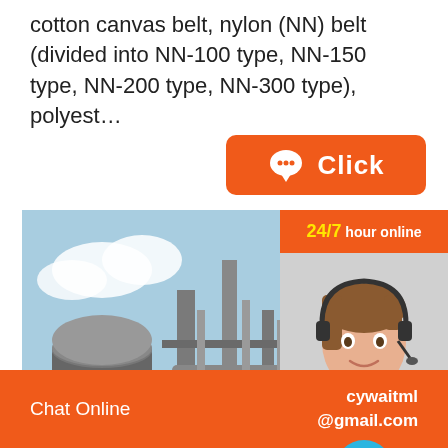cotton canvas belt, nylon (NN) belt (divided into NN-100 type, NN-150 type, NN-200 type, NN-300 type), polyest…
[Figure (illustration): Orange button with chat bubble icon and 'Click' text]
[Figure (photo): Industrial facility with silos, pipes and steel structures against a blue sky]
[Figure (infographic): 24/7 hour online customer service panel with female agent wearing headset, chat circle icon, 'Click to chat' button, and 'Enquiry' section with dashed border]
Chat Online    cywaitml @gmail.com